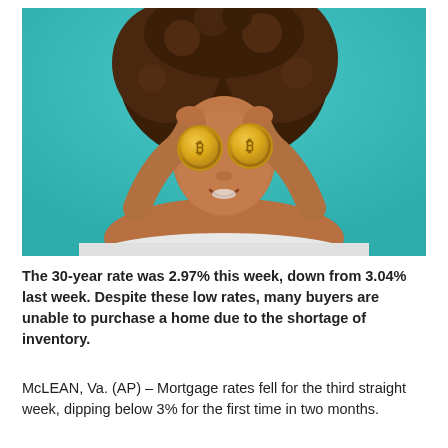[Figure (photo): A young woman with curly hair holding two gold Bitcoin coins over her eyes, posing against a teal/turquoise background, wearing a white v-neck t-shirt.]
The 30-year rate was 2.97% this week, down from 3.04% last week. Despite these low rates, many buyers are unable to purchase a home due to the shortage of inventory.
McLEAN, Va. (AP) – Mortgage rates fell for the third straight week, dipping below 3% for the first time in two months.